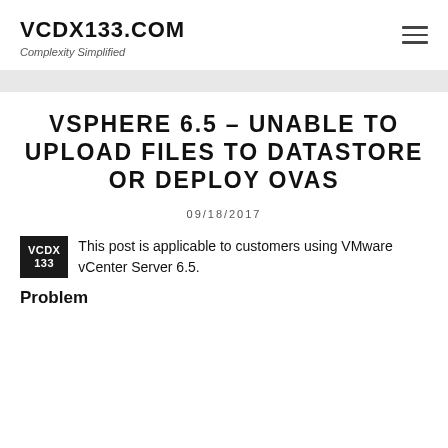VCDX133.COM
Complexity Simplified
VSPHERE 6.5 – UNABLE TO UPLOAD FILES TO DATASTORE OR DEPLOY OVAS
09/18/2017
This post is applicable to customers using VMware vCenter Server 6.5.
Problem